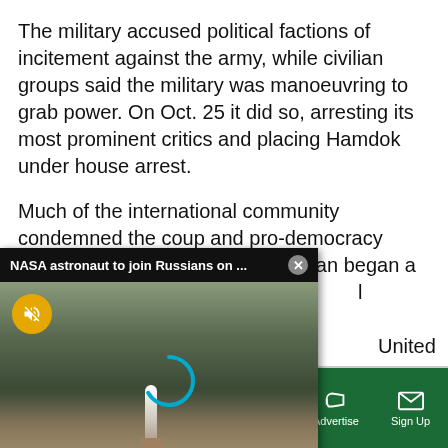The military accused political factions of incitement against the army, while civilian groups said the military was manoeuvring to grab power. On Oct. 25 it did so, arresting its most prominent critics and placing Hamdok under house arrest.
Much of the international community condemned the coup and pro-democracy groups in Sudan began a campaign of civil disobedience. Local committees and the United Nations sought to broker a deal. The military moved to ...
[Figure (screenshot): Video popup overlay showing NASA astronaut headline with a rocket launch scene. Title: 'NASA astronaut to join Russians on ...' with a close (X) button. Video frame shows a rocket on a launch pad with a muted/loading state. Yellow mute button with speaker-off icon, blue loading arc.]
EAL HAVE?
Sections  NY Edition  Philly  Games  Advertise  Sign Up